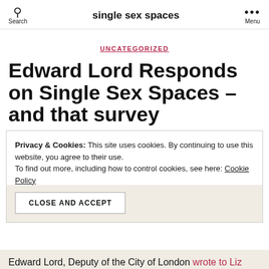single sex spaces
UNCATEGORIZED
Edward Lord Responds on Single Sex Spaces – and that survey
Privacy & Cookies: This site uses cookies. By continuing to use this website, you agree to their use. To find out more, including how to control cookies, see here: Cookie Policy
CLOSE AND ACCEPT
Edward Lord, Deputy of the City of London wrote to Liz